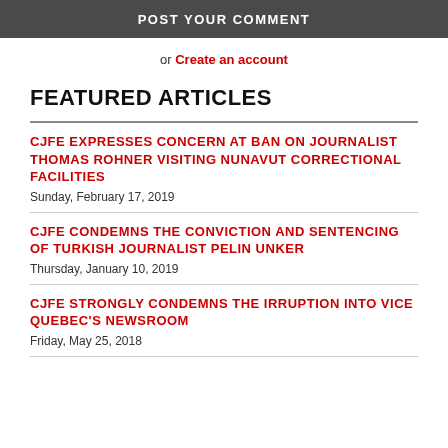POST YOUR COMMENT
or Create an account
FEATURED ARTICLES
CJFE EXPRESSES CONCERN AT BAN ON JOURNALIST THOMAS ROHNER VISITING NUNAVUT CORRECTIONAL FACILITIES
Sunday, February 17, 2019
CJFE CONDEMNS THE CONVICTION AND SENTENCING OF TURKISH JOURNALIST PELIN UNKER
Thursday, January 10, 2019
CJFE STRONGLY CONDEMNS THE IRRUPTION INTO VICE QUEBEC'S NEWSROOM
Friday, May 25, 2018